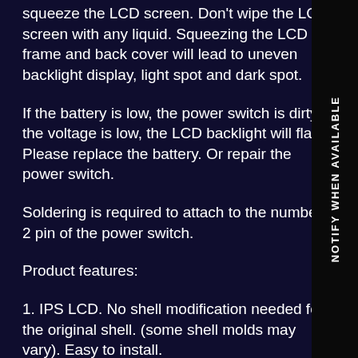squeeze the LCD screen. Don't wipe the LCD screen with any liquid. Squeezing the LCD frame and back cover will lead to uneven backlight display, light spot and dark spot.
If the battery is low, the power switch is dirty, the voltage is low, the LCD backlight will flash. Please replace the battery. Or repair the power switch.
Soldering is required to attach to the number 2 pin of the power switch.
Product features:
1. IPS LCD. No shell modification needed for the original shell. (some shell molds may vary). Easy to install.
2. Deliver 32 pin and 40 pin cables, no matter what version you have.
3. Use ordinary AA battery, the battery life is about 10 hours. Using different game cartridges, the power
[Figure (other): Vertical sidebar with text 'NOTIFY WHEN AVAILABLE' rotated 90 degrees on black background]